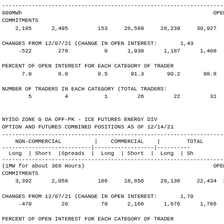800MWh                                                          OPEN COMMITMENTS
2,185      2,495         153     28,589     28,239     30,927   3
CHANGES FROM 12/07/21 (CHANGE IN OPEN INTEREST:       1,43
-522        278           0      1,930      1,187      1,408
PERCENT OF OPEN INTEREST FOR EACH CATEGORY OF TRADER
7.0        8.0         0.5       91.3       90.2       98.8
NUMBER OF TRADERS IN EACH CATEGORY (TOTAL TRADERS:
5          4           1         26         22         31
NYISO ZONE G DA OFF-PK - ICE FUTURES ENERGY DIV
OPTION AND FUTURES COMBINED POSITIONS AS OF 12/14/21
| NON-COMMERCIAL | COMMERCIAL | TOTAL |
| --- | --- | --- |
| Long | Short |Spreads | Long | Short | Long | Sh |
(1MW for about 368 Hours)                                       OPEN COMMITMENTS
3,392      2,058         186     18,856     20,136     22,434   2
CHANGES FROM 12/07/21 (CHANGE IN OPEN INTEREST:       1,70
-470         20          70      2,166      1,676      1,766
PERCENT OF OPEN INTEREST FOR EACH CATEGORY OF TRADER
11.0        8.0         0.8       88.0       88.5       99.8